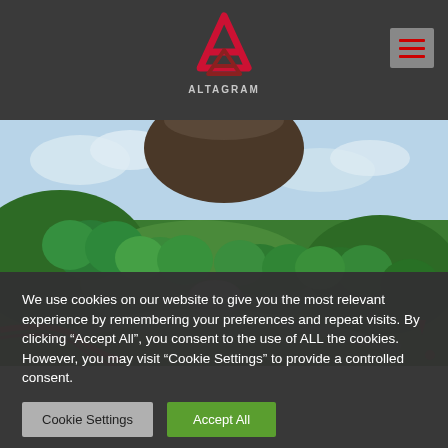ALTAGRAM
[Figure (screenshot): Aerial view of a 3D video game landscape with green trees, pathways, a large dark structure, and cartoon-like art style]
We use cookies on our website to give you the most relevant experience by remembering your preferences and repeat visits. By clicking “Accept All”, you consent to the use of ALL the cookies. However, you may visit “Cookie Settings” to provide a controlled consent.
Cookie Settings | Accept All